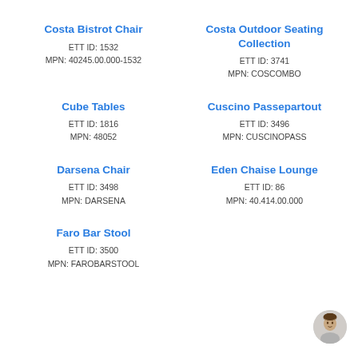Costa Bistrot Chair
ETT ID: 1532
MPN: 40245.00.000-1532
Costa Outdoor Seating Collection
ETT ID: 3741
MPN: COSCOMBO
Cube Tables
ETT ID: 1816
MPN: 48052
Cuscino Passepartout
ETT ID: 3496
MPN: CUSCINOPASS
Darsena Chair
ETT ID: 3498
MPN: DARSENA
Eden Chaise Lounge
ETT ID: 86
MPN: 40.414.00.000
Faro Bar Stool
ETT ID: 3500
MPN: FAROBARSTOOL
[Figure (photo): Small circular avatar photo of a person]